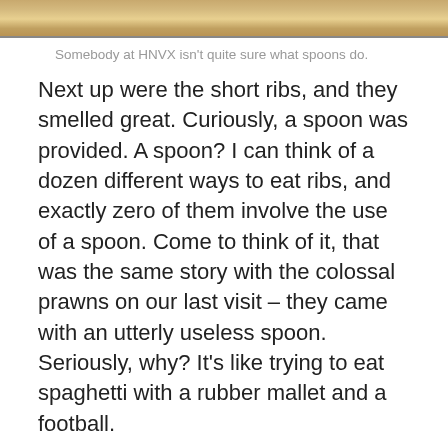[Figure (photo): Top portion of a food photograph, cropped at the top of the page]
Somebody at HNVX isn't quite sure what spoons do.
Next up were the short ribs, and they smelled great. Curiously, a spoon was provided. A spoon? I can think of a dozen different ways to eat ribs, and exactly zero of them involve the use of a spoon. Come to think of it, that was the same story with the colossal prawns on our last visit – they came with an utterly useless spoon. Seriously, why? It's like trying to eat spaghetti with a rubber mallet and a football.
Ignoring the pointless utensil (accidental pun!), the short ribs were excellent. They were marinated and grilled to perfection, and the quality of the beef met even my absurdly picky standards. They didn't last very long though, but we also had potstickers and Kobe rolls to keep